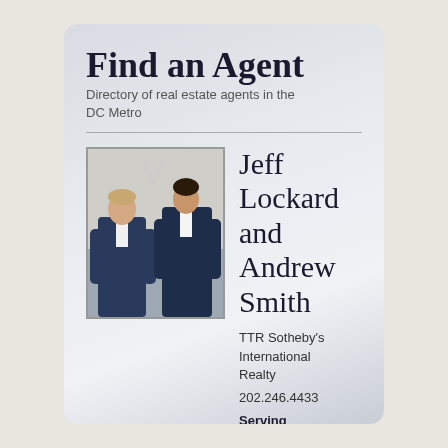Find an Agent
Directory of real estate agents in the DC Metro
[Figure (photo): Two men in navy suits standing together, professional headshot photo of Jeff Lockard and Andrew Smith]
Jeff Lockard and Andrew Smith
TTR Sotheby's International Realty
202.246.4433
Serving
Bloomingdale